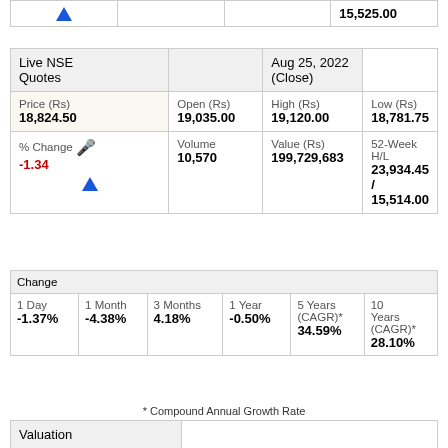|  |  |  |  |
| --- | --- | --- | --- |
| ↑ |  |  | 15,525.00 |
| Live NSE Quotes |  |  | Aug 25, 2022 (Close) |
| --- | --- | --- | --- |
| Price (Rs)
18,824.50 | Open (Rs)
19,035.00 | High (Rs)
19,120.00 | Low (Rs)
18,781.75 |
| % Change 🎤
-1.34
↑ | Volume
10,570 | Value (Rs)
199,729,683 | 52-Week H/L
23,934.45 / 15,514.00 |
| Change |  |  |  |  |  |
| --- | --- | --- | --- | --- | --- |
| 1 Day
-1.37% | 1 Month
-4.38% | 3 Months
4.18% | 1 Year
-0.50% | 5 Years (CAGR)*
34.59% | 10 Years (CAGR)*
28.10% |
* Compound Annual Growth Rate
| Valuation |  |
| --- | --- |